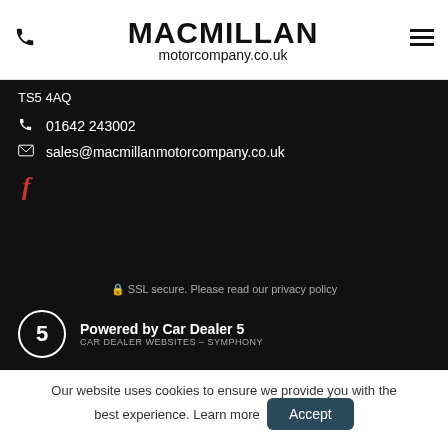MACMILLAN motorcompany.co.uk
TS5 4AQ
01642 243002
sales@macmillanmotorcompany.co.uk
[Figure (logo): Facebook icon in red]
SSL secure. Please read our privacy policy
[Figure (logo): Car Dealer 5 logo - circle with number 5, Powered by Car Dealer 5, CAR DEALER WEBSITES - SYMPHONY]
Our website uses cookies to ensure we provide you with the best experience. Learn more   Accept